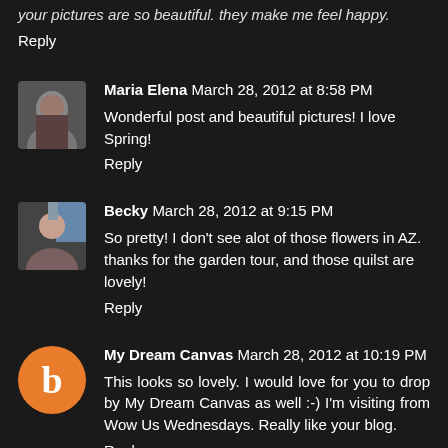your pictures are so beautiful. they make me feel happy.
Reply
Maria Elena  March 28, 2012 at 8:58 PM
Wonderful post and beautiful pictures! I love Spring!
Reply
Becky  March 28, 2012 at 9:15 PM
So pretty! I don't see alot of those flowers in AZ. thanks for the garden tour, and those quilst are lovely!
Reply
My Dream Canvas  March 28, 2012 at 10:19 PM
This looks so lovely. I would love for you to drop by My Dream Canvas as well :-) I'm visiting from Wow Us Wednesdays. Really like your blog.
Reply